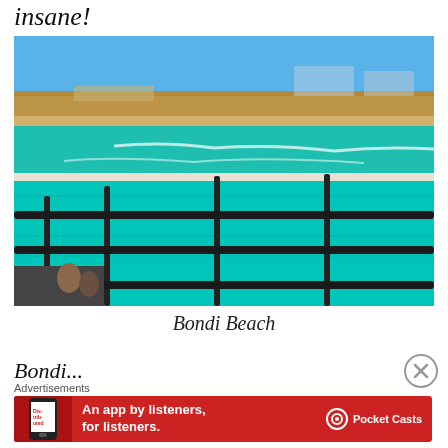insane!
[Figure (photo): Aerial view of Bondi Beach showing a large turquoise ocean pool (Bondi Icebergs) in the foreground with metal railings, the beach and ocean beyond, people swimming, and a sandy shoreline with buildings in the background under a clear blue sky.]
Bondi Beach
Bondi...
Advertisements
[Figure (infographic): Red banner advertisement for Pocket Casts podcast app. Text reads: An app by listeners, for listeners. Shows a phone with Distributed text on the screen and the Pocket Casts logo with circle icon.]